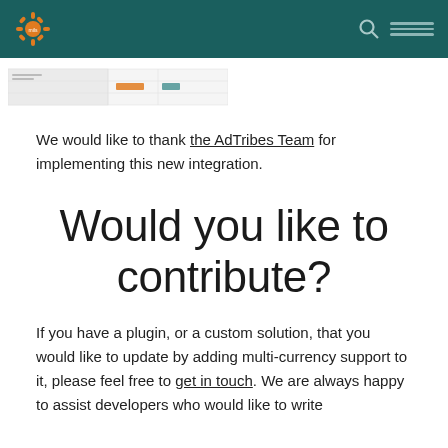mils [logo] — navigation header with search icon
[Figure (screenshot): A partial screenshot of a web interface showing a table or form with some orange UI elements]
We would like to thank the AdTribes Team for implementing this new integration.
Would you like to contribute?
If you have a plugin, or a custom solution, that you would like to update by adding multi-currency support to it, please feel free to get in touch. We are always happy to assist developers who would like to write